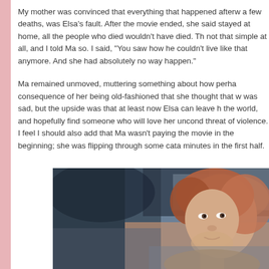My mother was convinced that everything that happened afterw a few deaths, was Elsa's fault. After the movie ended, she said stayed at home, all the people who died wouldn't have died. Th not that simple at all, and I told Ma so. I said, "You saw how he couldn't live like that anymore. And she had absolutely no way happen."
Ma remained unmoved, muttering something about how perha consequence of her being old-fashioned that she thought that w was sad, but the upside was that at least now Elsa can leave h the world, and hopefully find someone who will love her uncond threat of violence. I feel I should also add that Ma wasn't paying the movie in the beginning; she was flipping through some cata minutes in the first half.
[Figure (photo): A photograph showing a person with reddish-brown hair, appearing to be from a film or TV show scene, with a blurred background.]